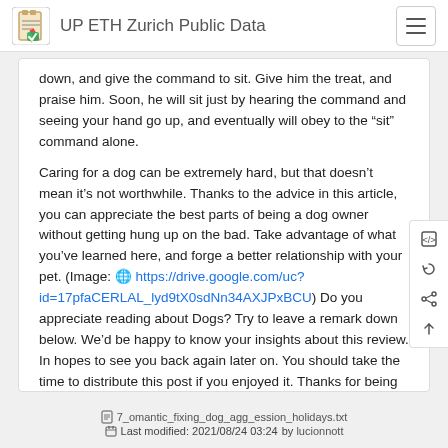UP ETH Zurich Public Data
down, and give the command to sit. Give him the treat, and praise him. Soon, he will sit just by hearing the command and seeing your hand go up, and eventually will obey to the “sit” command alone.
Caring for a dog can be extremely hard, but that doesn’t mean it’s not worthwhile. Thanks to the advice in this article, you can appreciate the best parts of being a dog owner without getting hung up on the bad. Take advantage of what you’ve learned here, and forge a better relationship with your pet. (Image: 🌐 https://drive.google.com/uc?id=17pfaCERLAL_lyd9tX0sdNn34AXJPxBCU) Do you appreciate reading about Dogs? Try to leave a remark down below. We’d be happy to know your insights about this review. In hopes to see you back again later on. You should take the time to distribute this post if you enjoyed it. Thanks for being here. Kindly check up our site back soon.
7_omantic_fixing_dog_agg_ession_holidays.txt
Last modified: 2021/08/24 03:24 by lucionnott